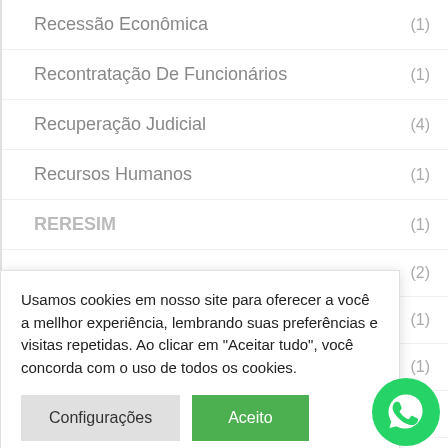Recessão Econômica (1)
Recontratação De Funcionários (1)
Recuperação Judicial (4)
Recursos Humanos (1)
RERESIM (1)
(2)
(1)
(1)
Usamos cookies em nosso site para oferecer a você a mellhor experiência, lembrando suas preferências e visitas repetidas. Ao clicar em "Aceitar tudo", você concorda com o uso de todos os cookies.
Configurações | Aceito